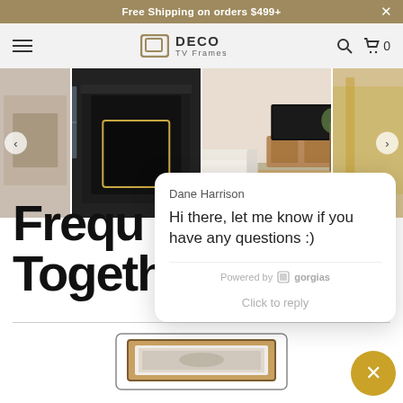Free Shipping on orders $499+
[Figure (screenshot): DECO TV Frames website navigation bar with hamburger menu, DECO TV Frames logo, search icon and cart (0)]
[Figure (photo): Image carousel showing living room scenes with TV frames: marble fireplace room, black fireplace room, white sofa room with wooden sideboard, and partial gold accent room]
Dane Harrison
Hi there, let me know if you have any questions :)
Powered by gorgias
Click to reply
Frequ Together
[Figure (photo): Partial view of a framed TV product image at the bottom of the page]